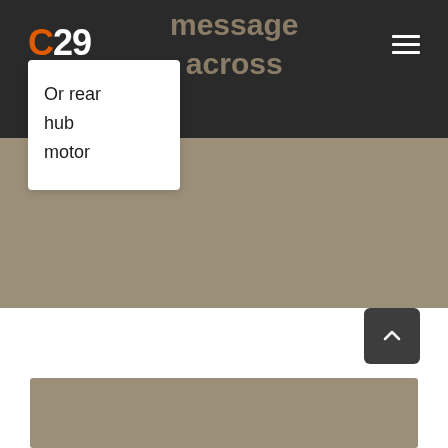[Figure (screenshot): Dark navigation bar at top with C29 logo on left and hamburger menu icon on right. Faded brownish text partially visible reading 'message across' in background.]
Or rear hub motor
[Figure (screenshot): Tan/brown background section in the middle of the page]
[Figure (screenshot): White section with scroll-to-top button (dark square with upward chevron) at bottom right, and a tan image card at the bottom of the page]